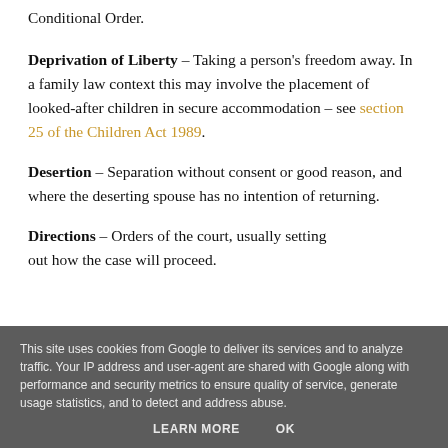Conditional Order.
Deprivation of Liberty – Taking a person's freedom away. In a family law context this may involve the placement of looked-after children in secure accommodation – see section 25 of the Children Act 1989.
Desertion – Separation without consent or good reason, and where the deserting spouse has no intention of returning.
Directions – Orders of the court, usually setting out how the case will proceed.
This site uses cookies from Google to deliver its services and to analyze traffic. Your IP address and user-agent are shared with Google along with performance and security metrics to ensure quality of service, generate usage statistics, and to detect and address abuse.
LEARN MORE   OK